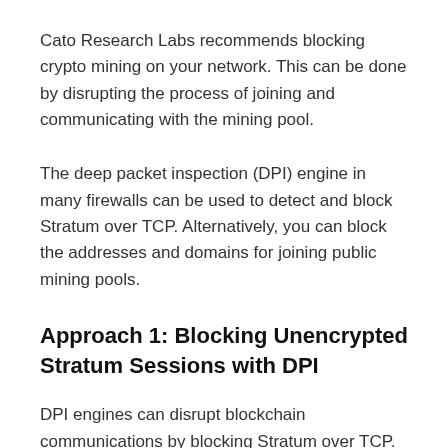Cato Research Labs recommends blocking crypto mining on your network. This can be done by disrupting the process of joining and communicating with the mining pool.
The deep packet inspection (DPI) engine in many firewalls can be used to detect and block Stratum over TCP. Alternatively, you can block the addresses and domains for joining public mining pools.
Approach 1: Blocking Unencrypted Stratum Sessions with DPI
DPI engines can disrupt blockchain communications by blocking Stratum over TCP. Stratum uses a publish/subscribe architecture where servers send